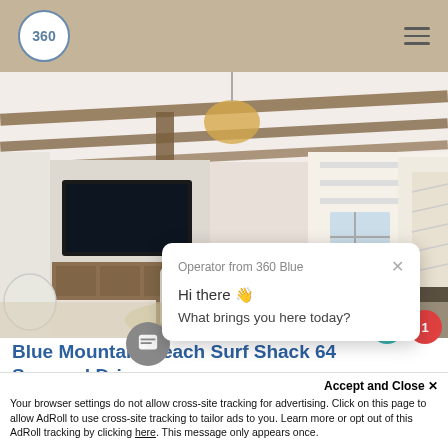360
[Figure (photo): Interior living room photo with vaulted wood-beam ceilings, pendant light, TV mounted on wall, sofa, kitchen visible in background]
Operator from 360 Blue
Hi there 👋
What brings you here today?
Blue Mountain Beach Surf Shack 64 Seaward Drive
Accept and Close ✕
Your browser settings do not allow cross-site tracking for advertising. Click on this page to allow AdRoll to use cross-site tracking to tailor ads to you. Learn more or opt out of this AdRoll tracking by clicking here. This message only appears once.